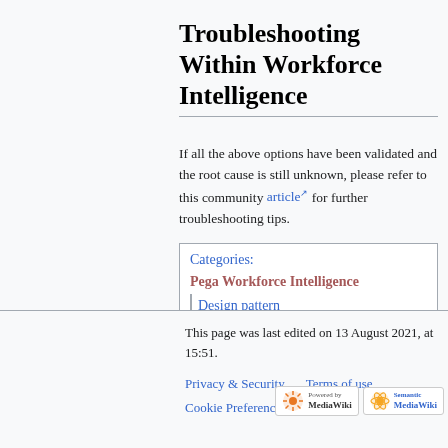Troubleshooting Within Workforce Intelligence
If all the above options have been validated and the root cause is still unknown, please refer to this community article for further troubleshooting tips.
| Categories: |
| --- |
| Pega Workforce Intelligence |
| Design pattern |
This page was last edited on 13 August 2021, at 15:51.
Privacy & Security   Terms of use   Cookie Preferences